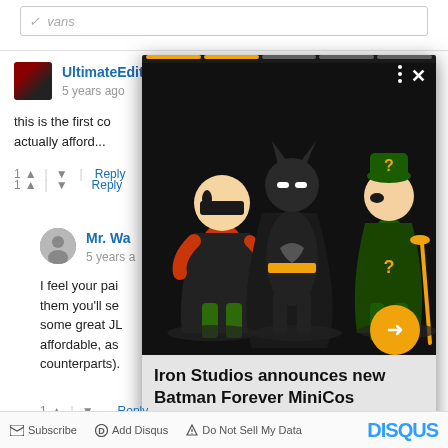✓ ​vans
UltimateEdition
5 years ago
this is the first co... actually afford...
Mr. Wa...
5 years a...
I feel your pai... them you'll se... some great JL... affordable, as... counterparts).
[Figure (screenshot): Ad overlay showing Iron Studios Batman Forever MiniCos figures (Robin, Batman, Riddler) on dark background with orange navigation arrow and caption: Iron Studios announces new Batman Forever MiniCos]
Subscribe   Add Disqus   Do Not Sell My Data   DISQUS